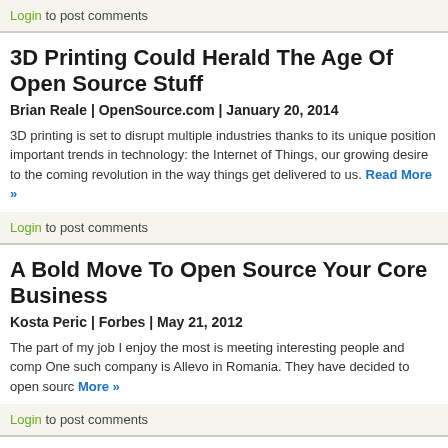Login to post comments
3D Printing Could Herald The Age Of Open Source Stuff
Brian Reale | OpenSource.com | January 20, 2014
3D printing is set to disrupt multiple industries thanks to its unique position important trends in technology: the Internet of Things, our growing desire to the coming revolution in the way things get delivered to us. Read More »
Login to post comments
A Bold Move To Open Source Your Core Business
Kosta Peric | Forbes | May 21, 2012
The part of my job I enjoy the most is meeting interesting people and comp One such company is Allevo in Romania. They have decided to open sourc More »
Login to post comments
A Few Thoughts About The Health-Care Marketplace
Jeanne Pinder | Clear Health Costs | February 27, 2013